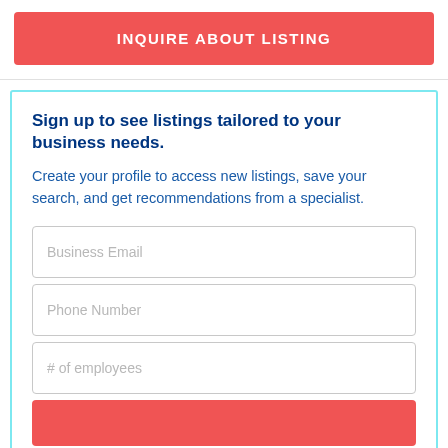INQUIRE ABOUT LISTING
Sign up to see listings tailored to your business needs.
Create your profile to access new listings, save your search, and get recommendations from a specialist.
Business Email
Phone Number
# of employees